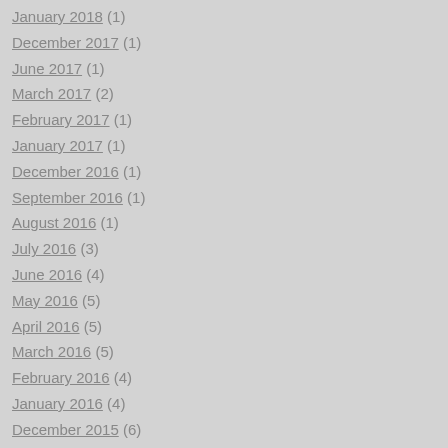January 2018 (1)
December 2017 (1)
June 2017 (1)
March 2017 (2)
February 2017 (1)
January 2017 (1)
December 2016 (1)
September 2016 (1)
August 2016 (1)
July 2016 (3)
June 2016 (4)
May 2016 (5)
April 2016 (5)
March 2016 (5)
February 2016 (4)
January 2016 (4)
December 2015 (6)
November 2015 (4)
October 2015 (4)